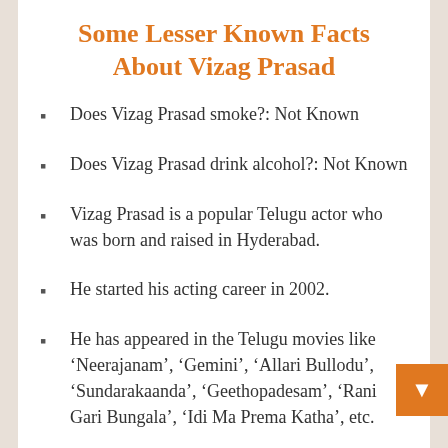Some Lesser Known Facts About Vizag Prasad
Does Vizag Prasad smoke?: Not Known
Does Vizag Prasad drink alcohol?: Not Known
Vizag Prasad is a popular Telugu actor who was born and raised in Hyderabad.
He started his acting career in 2002.
He has appeared in the Telugu movies like ‘Neerajanam’, ‘Gemini’, ‘Allari Bullodu’, ‘Sundarakaanda’, ‘Geethopadesam’, ‘Rani Gari Bungala’, ‘Idi Ma Prema Katha’, etc.
He is famous for playing the father’s role in the